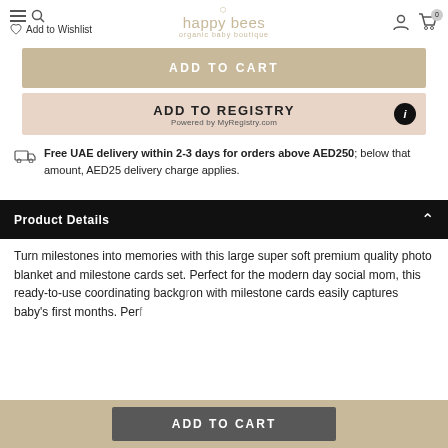happy bees organic baby boutique
Add to Wishlist
ADD TO CART
ADD TO REGISTRY
Powered by MyRegistry.com
Free UAE delivery within 2-3 days for orders above AED250; below that amount, AED25 delivery charge applies.
Product Details
Turn milestones into memories with this large super soft premium quality photo blanket and milestone cards set. Perfect for the modern day social mom, this ready-to-use coordinating backdrop with milestone cards easily captures baby's first months. Perf
ADD TO CART